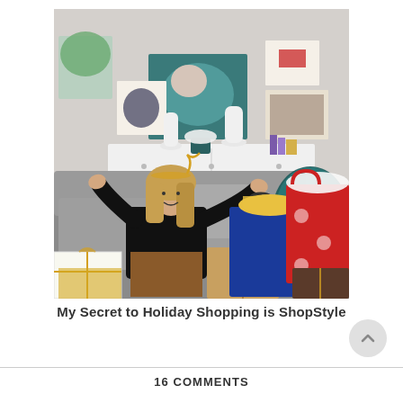[Figure (photo): A woman sitting on a grey sofa with holiday shopping bags (blue and red with snowflakes) and wrapped gifts around her, in a stylishly decorated living room with artwork on the wall. She is wearing a black turtleneck and leather skirt, smiling with hands raised in a shrug gesture.]
My Secret to Holiday Shopping is ShopStyle
16 COMMENTS